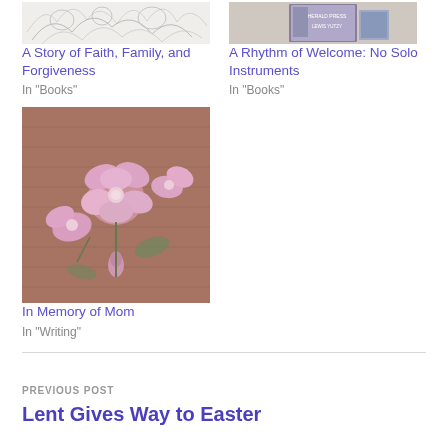[Figure (illustration): Sketch/line art illustration, light trees or branches on white background]
A Story of Faith, Family, and Forgiveness
In "Books"
[Figure (photo): Book cover photo - 'A Rhythm of Welcome: No Solo Instruments' by Herald Press]
A Rhythm of Welcome: No Solo Instruments
In "Books"
[Figure (photo): Photo of pink flowers (roses or cherry blossoms) against a brick wall background]
In Memory of Mom
In "Writing"
PREVIOUS POST
Lent Gives Way to Easter